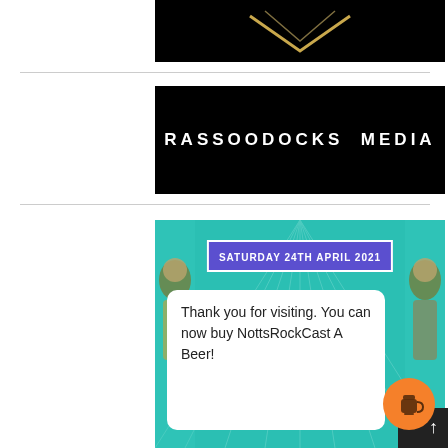[Figure (logo): Partial black background with gold/yellow chevron/diamond shape at top]
[Figure (logo): Black banner with white stylized text reading RASSOODOCKS MEDIA]
[Figure (infographic): Teal/turquoise event banner showing SATURDAY 24TH APRIL 2021 with a white card reading Thank you for visiting. You can now buy NottsRockCast A Beer!, decorative illustrated characters on left and right edges, and an orange circular button with a coffee cup icon]
Thank you for visiting. You can now buy NottsRockCast A Beer!